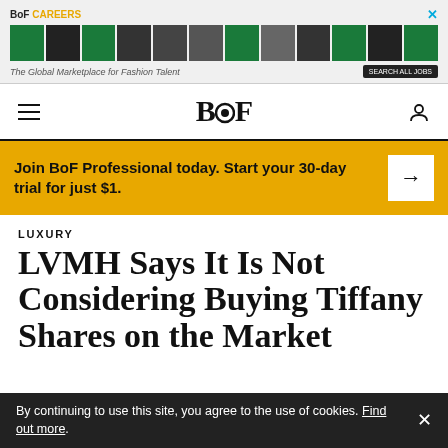[Figure (screenshot): BoF Careers advertisement banner with green image thumbnails and tagline 'The Global Marketplace for Fashion Talent']
BoF logo navigation bar with hamburger menu and user icon
Join BoF Professional today. Start your 30-day trial for just $1.
LUXURY
LVMH Says It Is Not Considering Buying Tiffany Shares on the Market
By continuing to use this site, you agree to the use of cookies. Find out more.